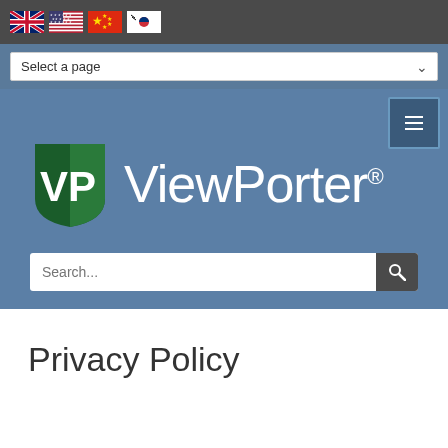[Figure (logo): Navigation bar with UK, US, Chinese, and Korean flag icons on dark grey background]
Select a page
[Figure (logo): ViewPorter logo with green shield VP emblem and white ViewPorter® wordmark on blue background, with search bar]
Privacy Policy